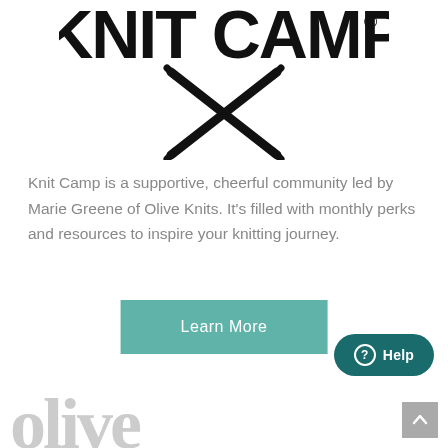[Figure (logo): Knit Camp logo with large stylized text 'KNIT CAMP' and a registered trademark symbol, with a large X (crossed knitting needles) below the text]
Knit Camp is a supportive, cheerful community led by Marie Greene of Olive Knits. It's filled with monthly perks and resources to inspire your knitting journey.
[Figure (other): Teal 'Learn More' button]
[Figure (other): Dark teal 'Help' button with circle-question-mark icon in bottom right]
[Figure (logo): Partial 'Olive Knits' logo visible at bottom of page, cut off]